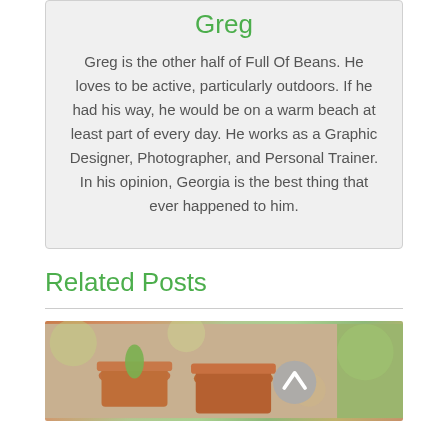Greg
Greg is the other half of Full Of Beans. He loves to be active, particularly outdoors. If he had his way, he would be on a warm beach at least part of every day. He works as a Graphic Designer, Photographer, and Personal Trainer. In his opinion, Georgia is the best thing that ever happened to him.
Related Posts
[Figure (photo): Photo of terracotta plant pots with blurred green background, with a gray circular scroll-to-top button overlaid]